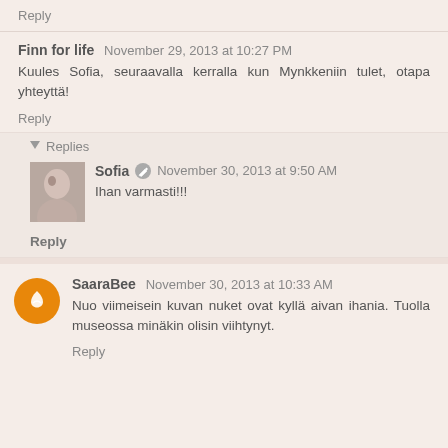Reply
Finn for life  November 29, 2013 at 10:27 PM
Kuules Sofia, seuraavalla kerralla kun Mynkkeniin tulet, otapa yhteyttä!
Reply
Replies
Sofia  November 30, 2013 at 9:50 AM
Ihan varmasti!!!
Reply
SaaraBee  November 30, 2013 at 10:33 AM
Nuo viimeisein kuvan nuket ovat kyllä aivan ihania. Tuolla museossa minäkin olisin viihtynyt.
Reply